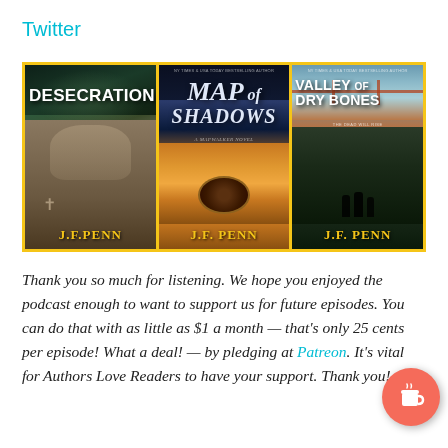Twitter
[Figure (illustration): Three book covers by J.F. Penn displayed side by side with a yellow/gold border: 'Desecration', 'Map of Shadows', and 'Valley of Dry Bones']
Thank you so much for listening. We hope you enjoyed the podcast enough to want to support us for future episodes. You can do that with as little as $1 a month — that's only 25 cents per episode! What a deal! — by pledging at Patreon. It's vital for Authors Love Readers to have your support. Thank you!